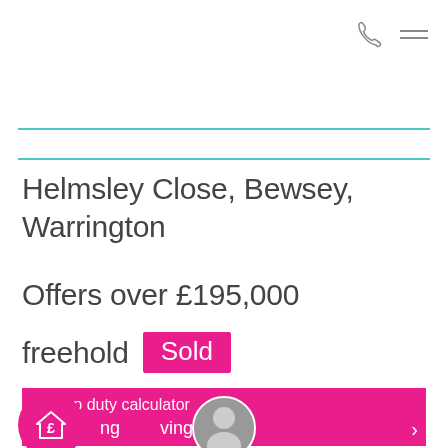Phone and menu icons (top navigation)
Helmsley Close, Bewsey, Warrington
Offers over £195,000
freehold Sold
Stamp duty calculator
ng ving